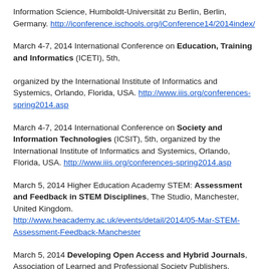Information Science, Humboldt-Universität zu Berlin, Berlin, Germany. http://iconference.ischools.org/iConference14/2014index/
March 4-7, 2014 International Conference on Education, Training and Informatics (ICETI), 5th, organized by the International Institute of Informatics and Systemics, Orlando, Florida, USA. http://www.iiis.org/conferences-spring2014.asp
March 4-7, 2014 International Conference on Society and Information Technologies (ICSIT), 5th, organized by the International Institute of Informatics and Systemics, Orlando, Florida, USA. http://www.iiis.org/conferences-spring2014.asp
March 5, 2014 Higher Education Academy STEM: Assessment and Feedback in STEM Disciplines, The Studio, Manchester, United Kingdom. http://www.heacademy.ac.uk/events/detail/2014/05-Mar-STEM-Assessment-Feedback-Manchester
March 5, 2014 Developing Open Access and Hybrid Journals, Association of Learned and Professional Society Publishers, London,